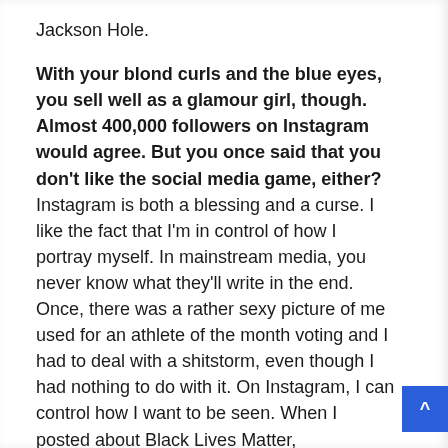Jackson Hole.
With your blond curls and the blue eyes, you sell well as a glamour girl, though. Almost 400,000 followers on Instagram would agree. But you once said that you don't like the social media game, either? Instagram is both a blessing and a curse. I like the fact that I'm in control of how I portray myself. In mainstream media, you never know what they'll write in the end. Once, there was a rather sexy picture of me used for an athlete of the month voting and I had to deal with a shitstorm, even though I had nothing to do with it. On Instagram, I can control how I want to be seen. When I posted about Black Lives Matter,